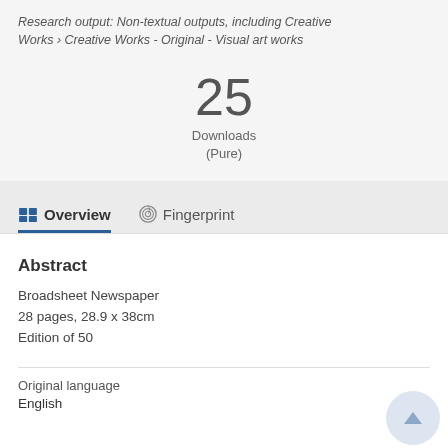Research output: Non-textual outputs, including Creative Works › Creative Works - Original - Visual art works
25
Downloads
(Pure)
Overview
Fingerprint
Abstract
Broadsheet Newspaper
28 pages, 28.9 x 38cm
Edition of 50
Original language
English